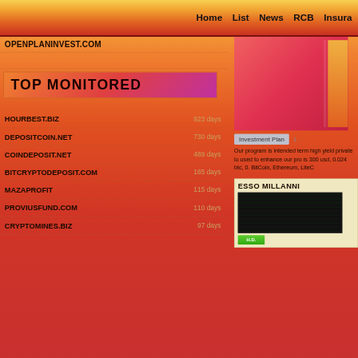Home  List  News  RCB  Insura...
OPENPLANINVEST.COM
TOP MONITORED
HOURBEST.BIZ  923 days
DEPOSITCOIN.NET  730 days
COINDEPOSIT.NET  489 days
BITCRYPTODEPOSIT.COM  165 days
MAZAPROFIT  115 days
PROVIUSFUND.COM  110 days
CRYPTOMINES.BIZ  97 days
[Figure (screenshot): Red/pink investment site banner image on right side]
Investment Plan  1.
Our program is intended term high yield private lo used to enhance our pro is 300 usd, 0.024 btc, 0. BitCoin, Ethereum, LiteC
ESSO MILLANNI
[Figure (screenshot): Dark/black image panel for ESSO MILLANNI]